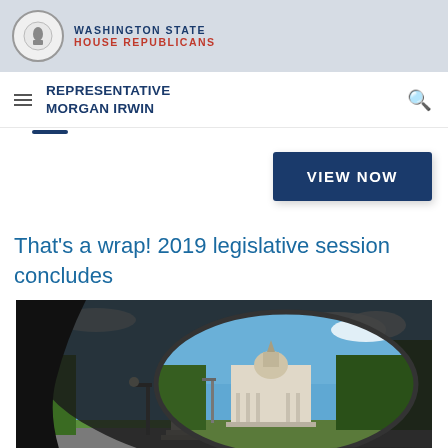WASHINGTON STATE HOUSE REPUBLICANS
REPRESENTATIVE MORGAN IRWIN
VIEW NOW
That's a wrap! 2019 legislative session concludes
[Figure (photo): A car side mirror reflecting the Washington State Capitol building with blue sky and trees in the background]